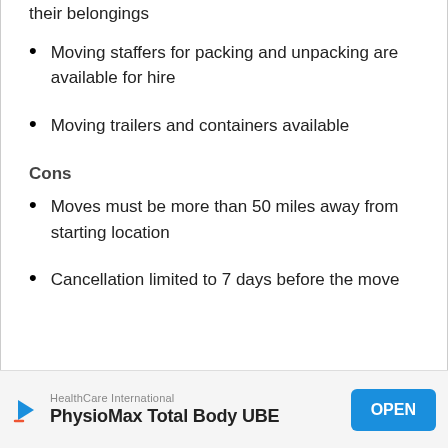their belongings
Moving staffers for packing and unpacking are available for hire
Moving trailers and containers available
Cons
Moves must be more than 50 miles away from starting location
Cancellation limited to 7 days before the move
HealthCare International
PhysioMax Total Body UBE
OPEN